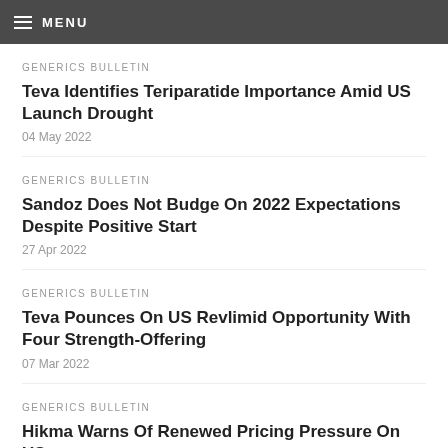MENU
GENERICS BULLETIN
Teva Identifies Teriparatide Importance Amid US Launch Drought
04 May 2022
GENERICS BULLETIN
Sandoz Does Not Budge On 2022 Expectations Despite Positive Start
27 Apr 2022
GENERICS BULLETIN
Teva Pounces On US Revlimid Opportunity With Four Strength-Offering
07 Mar 2022
GENERICS BULLETIN
Hikma Warns Of Renewed Pricing Pressure On US